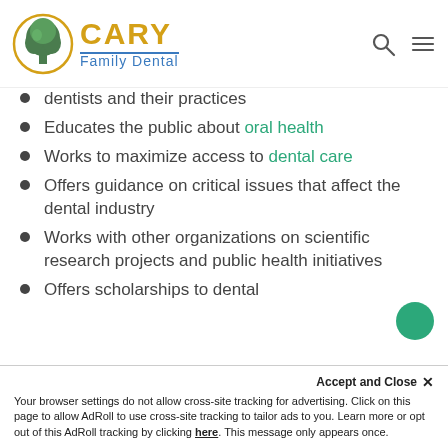[Figure (logo): Cary Family Dental logo with tree icon in yellow circle and text 'CARY Family Dental']
dentists and their practices
Educates the public about oral health
Works to maximize access to dental care
Offers guidance on critical issues that affect the dental industry
Works with other organizations on scientific research projects and public health initiatives
Offers scholarships to dental
Accept and Close ✕
Your browser settings do not allow cross-site tracking for advertising. Click on this page to allow AdRoll to use cross-site tracking to tailor ads to you. Learn more or opt out of this AdRoll tracking by clicking here. This message only appears once.